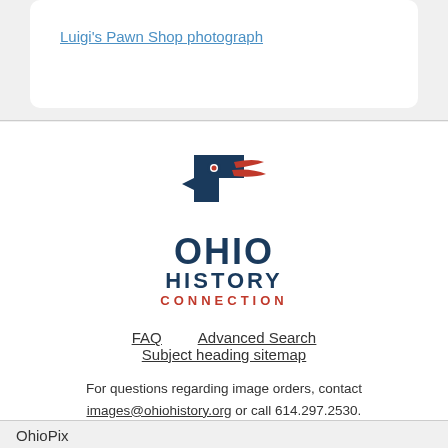Luigi's Pawn Shop photograph
[Figure (logo): Ohio History Connection logo with stylized flag/bird graphic in navy blue and red, with text OHIO HISTORY CONNECTION]
FAQ   Advanced Search
Subject heading sitemap
For questions regarding image orders, contact images@ohiohistory.org or call 614.297.2530.
OhioPix